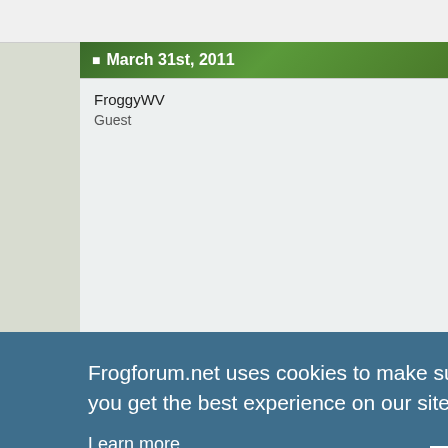March 31st, 2011
FroggyWV
Guest
Re: Building Dart Frog Terrarium
Great build thread. Just a suggest... use lava rock in place of them. Rin... create a false bottom by using the... ceilings). Cut it to size and use clo... actually prefer the egg crate, howe...
April 20th, 2011 (partial)
Re: Building Dart Frog Ter...
by kille...
How do... would b... nical/bio...
out prov...
Equipment necessary.
Frogforum.net uses cookies to make sure you get the best experience on our site.
Learn more
Got it!